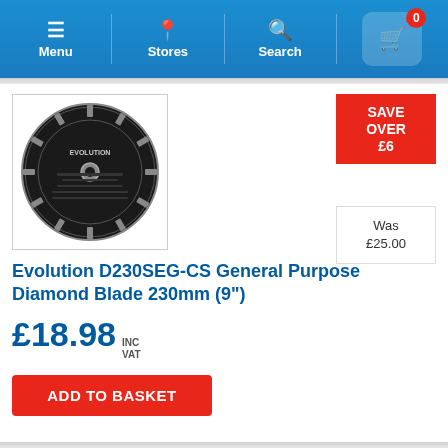Menu | Stores | Search | Cart (0)
[Figure (photo): Evolution diamond blade circular saw blade, black with segmented edge, 230mm, product photo on white background]
SAVE OVER £6
Was £25.00
Evolution D230SEG-CS General Purpose Diamond Blade 230mm (9")
£18.98 INC VAT
ADD TO BASKET